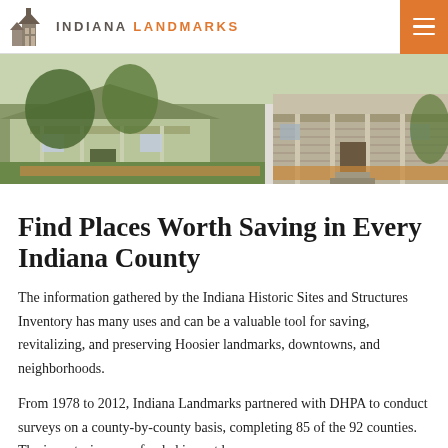INDIANA LANDMARKS
[Figure (photo): Exterior photo of two historic Indiana homes with landscaping and porches]
Find Places Worth Saving in Every Indiana County
The information gathered by the Indiana Historic Sites and Structures Inventory has many uses and can be a valuable tool for saving, revitalizing, and preserving Hoosier landmarks, downtowns, and neighborhoods.
From 1978 to 2012, Indiana Landmarks partnered with DHPA to conduct surveys on a county-by-county basis, completing 85 of the 92 counties. The inventories were funded in part by